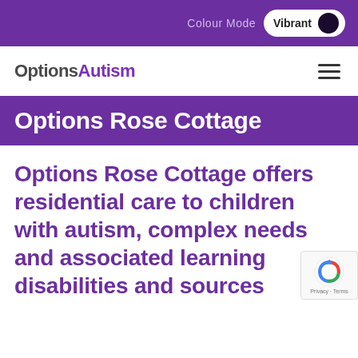Colour Mode Vibrant
OptionsAutism
Options Rose Cottage
Options Rose Cottage offers residential care to children with autism, complex needs and associated learning disabilities and sources